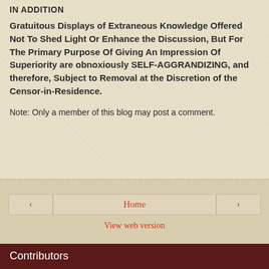IN ADDITION
Gratuitous Displays of Extraneous Knowledge Offered Not To Shed Light Or Enhance the Discussion, But For The Primary Purpose Of Giving An Impression Of Superiority are obnoxiously SELF-AGGRANDIZING, and therefore, Subject to Removal at the Discretion of the Censor-in-Residence.
Note: Only a member of this blog may post a comment.
Home
View web version
Contributors
FreeThinke
Preserve Our Culture